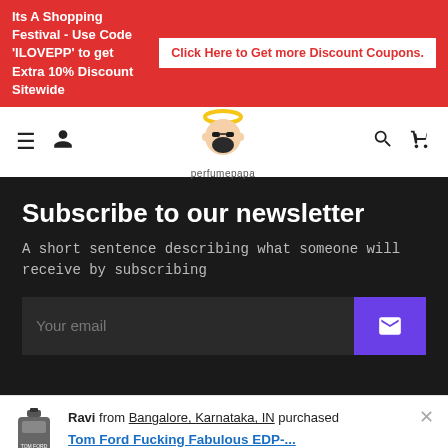Its A Shopping Festival - Use Code 'ILOVEPP' to get Extra 10% Discount Sitewide | Click Here to Get more Discount Coupons.
[Figure (logo): PerfumePapa logo - cartoon face with beard and yellow halo, with text 'perfumepapa' below]
Subscribe to our newsletter
A short sentence describing what someone will receive by subscribing
Your email
Ravi from Bangalore, Karnataka, IN purchased Tom Ford Fucking Fabulous EDP-... 5 days ago